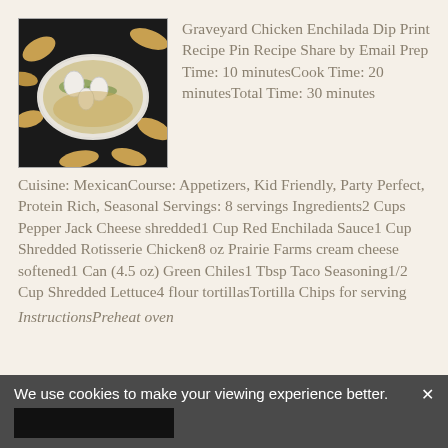[Figure (photo): Photo of Graveyard Chicken Enchilada Dip in a white oval baking dish surrounded by tortilla chips on a dark surface]
Graveyard Chicken Enchilada Dip Print Recipe Pin Recipe Share by Email Prep Time: 10 minutesCook Time: 20 minutesTotal Time: 30 minutes Cuisine: MexicanCourse: Appetizers, Kid Friendly, Party Perfect, Protein Rich, Seasonal Servings: 8 servings Ingredients2 Cups Pepper Jack Cheese shredded1 Cup Red Enchilada Sauce1 Cup Shredded Rotisserie Chicken8 oz Prairie Farms cream cheese softened1 Can (4.5 oz) Green Chiles1 Tbsp Taco Seasoning1/2 Cup Shredded Lettuce4 flour tortillasTortilla Chips for serving
InstructionsPreheat oven
We use cookies to make your viewing experience better.